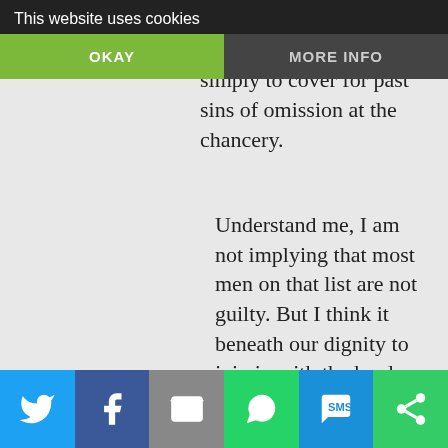This website uses cookies | OKAY | MORE INFO
been thrown under the bus by his own bishop simply to cover for past sins of omission at the chancery.
Understand me, I am not implying that most men on that list are not guilty. But I think it beneath our dignity to join in with the herd screaming “crucify him” in every instance without examining carefully the specific case at hand. And, I
Share buttons: Twitter, Facebook, Email, WhatsApp, SMS, Other